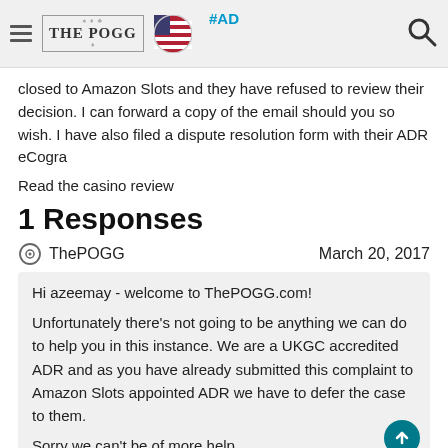THE POGG | #AD
closed to Amazon Slots and they have refused to review their decision. I can forward a copy of the email should you so wish. I have also filed a dispute resolution form with their ADR eCogra
Read the casino review
1 Responses
ThePOGG    March 20, 2017
Hi azeemay - welcome to ThePOGG.com!

Unfortunately there's not going to be anything we can do to help you in this instance. We are a UKGC accredited ADR and as you have already submitted this complaint to Amazon Slots appointed ADR we have to defer the case to them.

Sorry we can't be of more help,